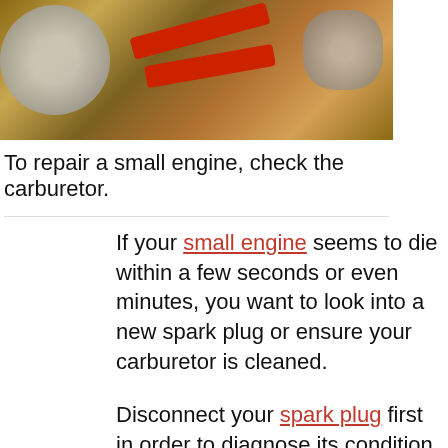[Figure (photo): Photo of small engine repair tools including red screwdrivers and metal engine parts laid out on a wooden surface]
To repair a small engine, check the carburetor.
If your small engine seems to die within a few seconds or even minutes, you want to look into a new spark plug or ensure your carburetor is cleaned.
Disconnect your spark plug first in order to diagnose its condition. Make sure you wear some sort of eye protection while taking this small engine repair step.
To clean the carburetor, remove the carburetor and then remove the float. Once you have also removed the jets and outer